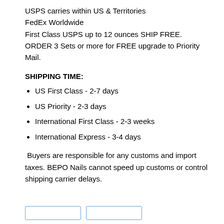USPS carries within US  & Territories
FedEx Worldwide
First Class USPS up to 12 ounces SHIP FREE.
ORDER 3 Sets or more for FREE upgrade to Priority Mail.
SHIPPING TIME:
US First Class - 2-7 days
US Priority - 2-3 days
International First Class - 2-3 weeks
International Express - 3-4 days
Buyers are responsible for any customs and import taxes. BEPO Nails cannot speed up customs or control shipping carrier delays.